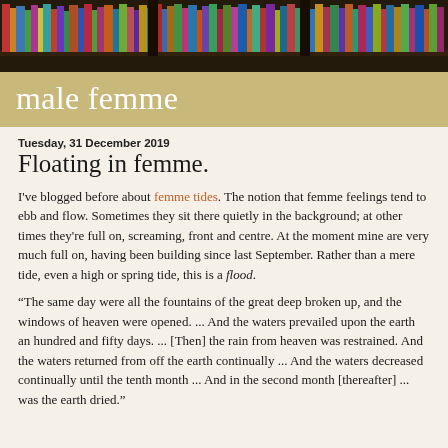[Figure (photo): Bookshelf header photo showing colorful books on shelves]
male femme
Tuesday, 31 December 2019
Floating in femme.
I've blogged before about femme tides. The notion that femme feelings tend to ebb and flow. Sometimes they sit there quietly in the background; at other times they're full on, screaming, front and centre. At the moment mine are very much full on, having been building since last September. Rather than a mere tide, even a high or spring tide, this is a flood.
“The same day were all the fountains of the great deep broken up, and the windows of heaven were opened. ... And the waters prevailed upon the earth an hundred and fifty days. ... [Then] the rain from heaven was restrained. And the waters returned from off the earth continually ... And the waters decreased continually until the tenth month ... And in the second month [thereafter] ... was the earth dried."